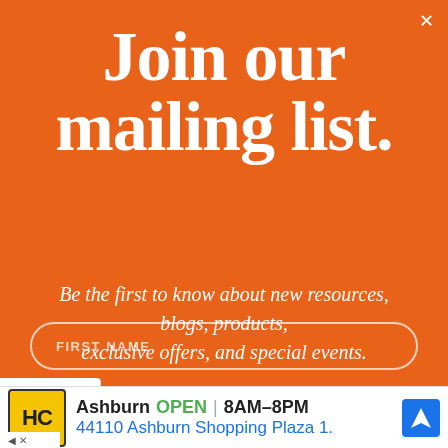[Figure (photo): Green foliage/trees photo visible at top of page behind modal overlay]
Join our mailing list.
Be the first to know about new resources, blogs, products, exclusive offers, and special events.
FIRST NAME
[Figure (screenshot): HC (Harvest Center) store ad: Ashburn OPEN 8AM–8PM, 44110 Ashburn Shopping Plaza 1., with yellow HC logo and blue navigation icon]